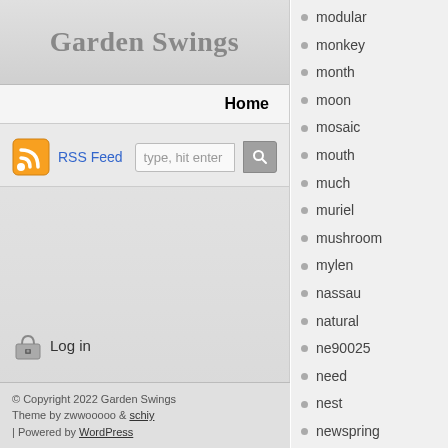Garden Swings
Home
RSS Feed   type, hit enter
modular
monkey
month
moon
mosaic
mouth
much
muriel
mushroom
mylen
nassau
natural
ne90025
need
nest
newspring
norma
northland
oakland
öhollywoodschaukel
Log in
© Copyright 2022 Garden Swings
Theme by zwwooooo & schiy
| Powered by WordPress